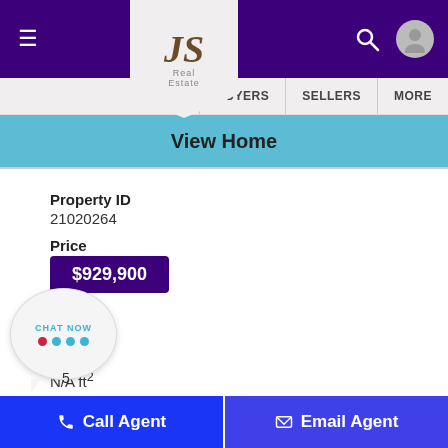JS Real Estate — navigation bar with BUYERS, SELLERS, MORE
View Home
Property ID
21020264
Price
$929,900
Status:
Sale
Area:
N/A ft²
Lot Size:
[Figure (illustration): Chat Now bubble with teal dots]
Call Agent | Email Agent